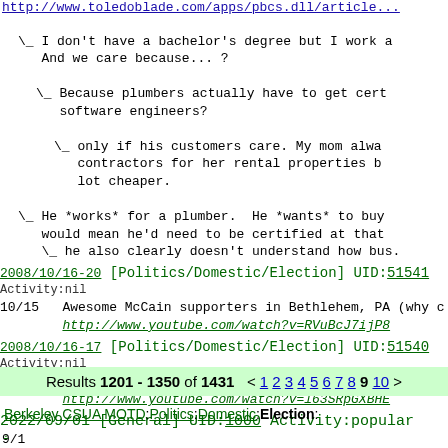http://www.toledoblade.com/apps/pbcs.dll/article...
\_ I don't have a bachelor's degree but I work a... And we care because... ?
\_ Because plumbers actually have to get cert... software engineers?
\_ only if his customers care. My mom alwa... contractors for her rental properties b... lot cheaper.
\_ He *works* for a plumber.  He *wants* to buy... would mean he'd need to be certified at that... \_ he also clearly doesn't understand how bus...
2008/10/16-20 [Politics/Domestic/Election] UID:51541 Activity:nil
10/15   Awesome McCain supporters in Bethlehem, PA (why c
http://www.youtube.com/watch?v=RVuBcJ7ijP8
2008/10/16-17 [Politics/Domestic/Election] UID:51540 Activity:nil
10/15   Holy smokes!  McCain was on Batman!
http://www.youtube.com/watch?v=l63SRpGXBHE
2022/09/01 [General] UID:1000 Activity:popular
9/1
Results 1201 - 1350 of 1431  < 1 2 3 4 5 6 7 8 9 10 >
Berkeley CSUA MOTD:Politics:Domestic:Election:
.